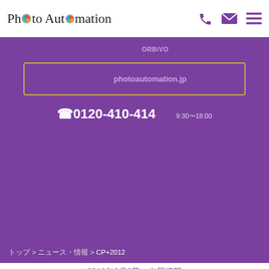Photo Automation
ORBiVO
photoautomation.jp
0120-410-414  9:30～18:00
トップ > ニュース・情報 > CP+2012
2012年2月9日 出展情報
CP+2012
[Figure (logo): CP+ 2012 colorful asterisk/star logo with CP+ text in teal and red plus sign]